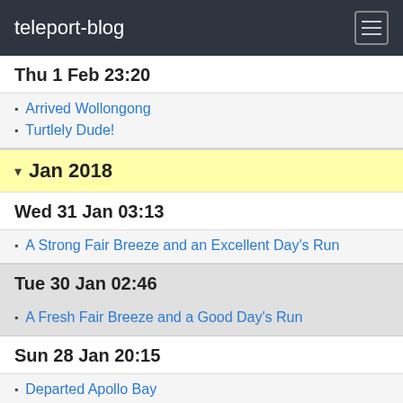teleport-blog
Thu 1 Feb 23:20
Arrived Wollongong
Turtlely Dude!
Jan 2018
Wed 31 Jan 03:13
A Strong Fair Breeze and an Excellent Day's Run
Tue 30 Jan 02:46
A Fresh Fair Breeze and a Good Day's Run
Sun 28 Jan 20:15
Departed Apollo Bay
Fri 26 Jan 06:44
Photos
Australia Day in Apollo Bay
Thu 25 Jan 02:28
Fresher Headwinds